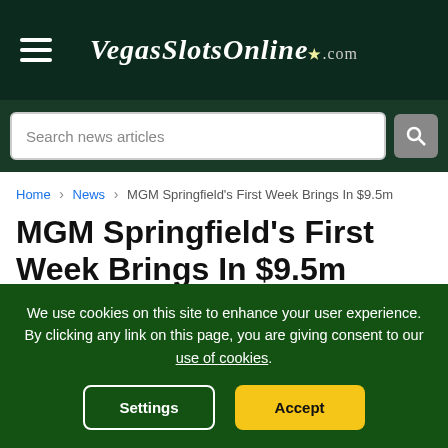VegasSlotsOnline.com
Search news articles
Home > News > MGM Springfield's First Week Brings In $9.5m
MGM Springfield's First Week Brings In $9.5m
Andrew O'Malley
We use cookies on this site to enhance your user experience. By clicking any link on this page, you are giving consent to our use of cookies.